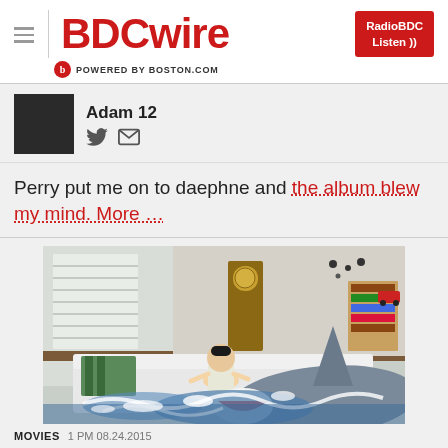BDCwire — POWERED BY BOSTON.COM
Adam 12
Perry put me on to daephne and the album blew my mind. More ...
[Figure (photo): A child sitting on a white sofa/bed while a large shark rises from churning water in what appears to be an indoor room, with a grandfather clock and bookshelves visible in the background.]
MOVIES   1 PM 08.24.2015